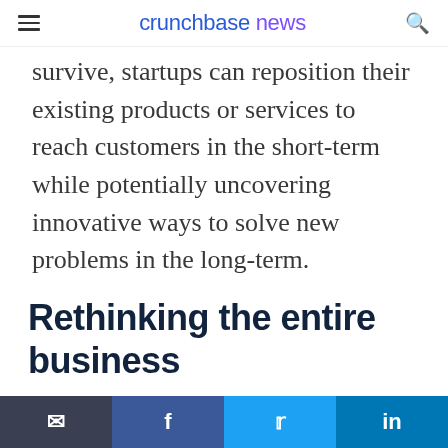crunchbase news
survive, startups can reposition their existing products or services to reach customers in the short-term while potentially uncovering innovative ways to solve new problems in the long-term.
Rethinking the entire business
For some startups, COVID-19 has disrupted “business as usual”
Share via email | Share on Facebook | Share on Twitter | Share on LinkedIn